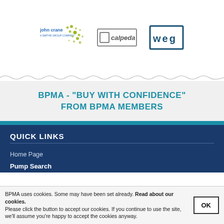[Figure (logo): John Crane logo with text and dot pattern]
[Figure (logo): Calpeda logo with border box]
[Figure (logo): WEG logo in bordered box]
BPMA - "BUY WITH CONFIDENCE" FROM BPMA MEMBERS
QUICK LINKS
Home Page
Pump Search
BPMA uses cookies. Some may have been set already. Read about our cookies.
Please click the button to accept our cookies. If you continue to use the site, we'll assume you're happy to accept the cookies anyway.